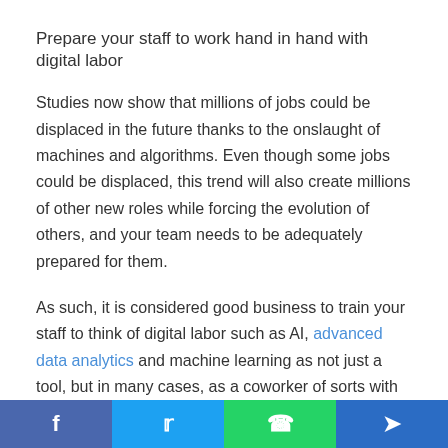Prepare your staff to work hand in hand with digital labor
Studies now show that millions of jobs could be displaced in the future thanks to the onslaught of machines and algorithms. Even though some jobs could be displaced, this trend will also create millions of other new roles while forcing the evolution of others, and your team needs to be adequately prepared for them.
As such, it is considered good business to train your staff to think of digital labor such as AI, advanced data analytics and machine learning as not just a tool, but in many cases, as a coworker of sorts with various advantages as well as some notable weaknesses. Digital Authority says that you must do what you can to prepare for the eventual takeover by reading
f  t  WhatsApp  Telegram